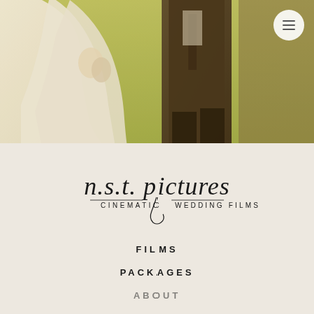[Figure (photo): Wedding couple photo — bride in white gown on left, groom in dark suit on right, standing outdoors on green grass, warm yellow-green toned image, cropped to show torsos and lower bodies]
[Figure (logo): n.s.t. pictures logo — cursive script 'n.s.t. pictures' above 'CINEMATIC WEDDING FILMS' in spaced capitals, with a decorative flourish divider]
FILMS
PACKAGES
ABOUT